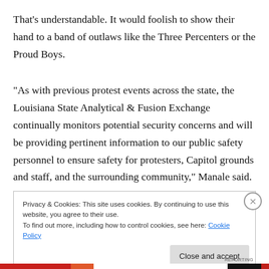That's understandable. It would foolish to show their hand to a band of outlaws like the Three Percenters or the Proud Boys.
“As with previous protest events across the state, the Louisiana State Analytical & Fusion Exchange continually monitors potential security concerns and will be providing pertinent information to our public safety personnel to ensure safety for protesters, Capitol grounds and staff, and the surrounding community,” Manale said.
Privacy & Cookies: This site uses cookies. By continuing to use this website, you agree to their use.
To find out more, including how to control cookies, see here: Cookie Policy